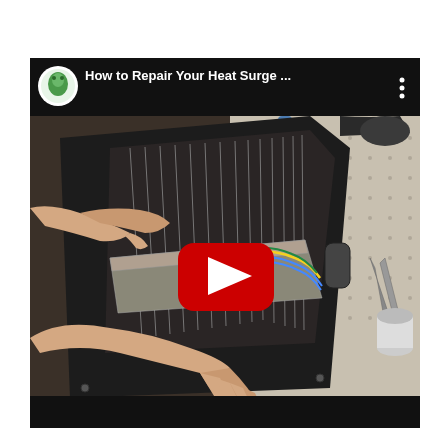[Figure (screenshot): YouTube video thumbnail/embed for 'How to Repair Your Heat Surge ...' showing a person's hands holding open a disassembled Heat Surge electric heater on a workbench with pegboard tool wall behind. A red YouTube play button is centered on the image. The video has a channel icon (green figure) and a three-dot menu icon in the top-right corner.]